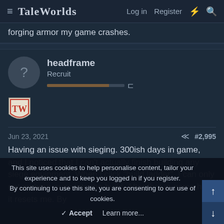TaleWorlds  Log in  Register
forging armor my game crashes.
headframe
Recruit
[Figure (logo): TaleWorlds TW shield badge logo]
Jun 23, 2021   #2,995
Having an issue with sieging. 300ish days in game, and I noticed that I can't actually finish building any siege equipment. When I click "build ladder", I can only get an hour or so into the build. After that in-game hour, it resets me. By
This site uses cookies to help personalise content, tailor your experience and to keep you logged in if you register.
By continuing to use this site, you are consenting to our use of cookies.
✓ Accept  Learn more...